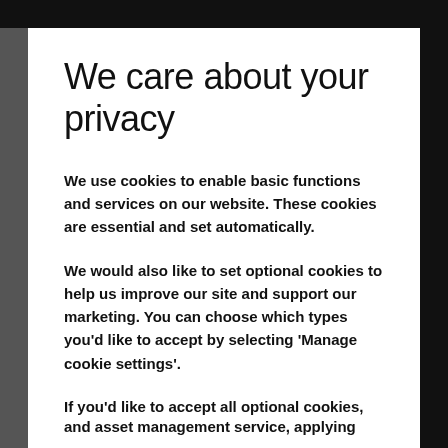We care about your privacy
We use cookies to enable basic functions and services on our website. These cookies are essential and set automatically.
We would also like to set optional cookies to help us improve our site and support our marketing. You can choose which types you'd like to accept by selecting 'Manage cookie settings'.
If you'd like to accept all optional cookies, select
and asset management service, applying